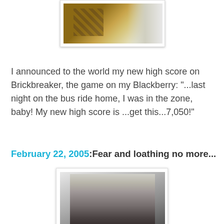[Figure (photo): Partial top image showing what appears to be stairs or ladders in an outdoor setting, cropped at top of page]
I announced to the world my new high score on Brickbreaker, the game on my Blackberry: "...last night on the bus ride home, I was in the zone, baby! My new high score is ...get this...7,050!"
February 22, 2005:Fear and loathing no more...
[Figure (photo): Black and white photograph of a bald man in a tuxedo with sunglasses, cigarette holder in mouth, raising one hand - appears to be Hunter S. Thompson]